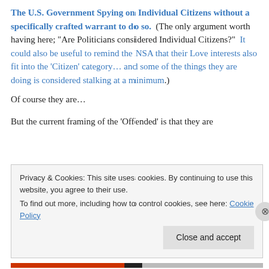The U.S. Government Spying on Individual Citizens without a specifically crafted warrant to do so. (The only argument worth having here; “Are Politicians considered Individual Citizens?”  It could also be useful to remind the NSA that their Love interests also fit into the ‘Citizen’ category… and some of the things they are doing is considered stalking at a minimum.)
Of course they are…
But the current framing of the ‘Offended’ is that they are
Privacy & Cookies: This site uses cookies. By continuing to use this website, you agree to their use.
To find out more, including how to control cookies, see here: Cookie Policy